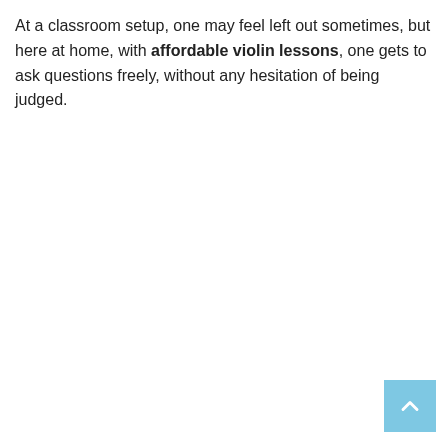At a classroom setup, one may feel left out sometimes, but here at home, with affordable violin lessons, one gets to ask questions freely, without any hesitation of being judged.